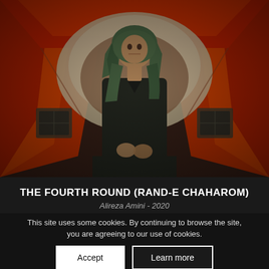[Figure (photo): Film still showing a woman wearing a green hijab and dark jacket standing in a corridor/tunnel with red-orange walls and a curved arch behind her. Cinematic composition with dramatic lighting.]
THE FOURTH ROUND (RAND-E CHAHAROM)
Alireza Amini - 2020
This site uses some cookies. By continuing to browse the site, you are agreeing to our use of cookies.
Accept
Learn more